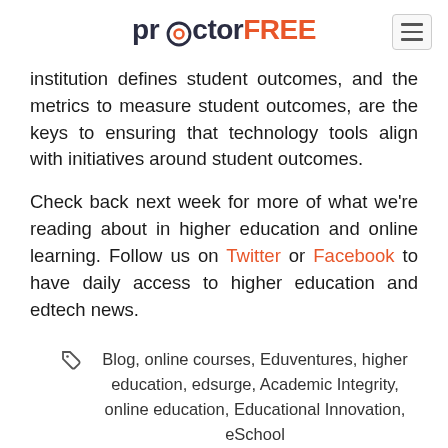proctorFREE
institution defines student outcomes, and the metrics to measure student outcomes, are the keys to ensuring that technology tools align with initiatives around student outcomes.
Check back next week for more of what we're reading about in higher education and online learning. Follow us on Twitter or Facebook to have daily access to higher education and edtech news.
Blog, online courses, Eduventures, higher education, edsurge, Academic Integrity, online education, Educational Innovation, eSchool